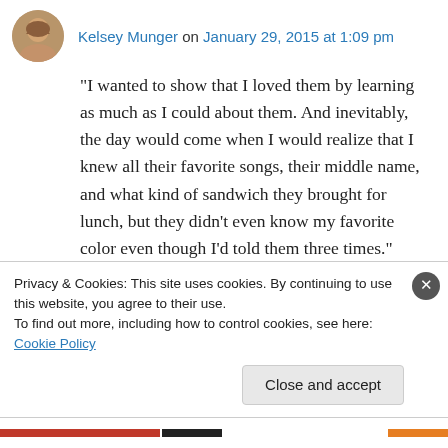Kelsey Munger on January 29, 2015 at 1:09 pm
“I wanted to show that I loved them by learning as much as I could about them. And inevitably, the day would come when I would realize that I knew all their favorite songs, their middle name, and what kind of sandwich they brought for lunch, but they didn’t even know my favorite color even though I’d told them three times.”
YES! I’ve had this happen so many times! I always (and this is still true) know more about
Privacy & Cookies: This site uses cookies. By continuing to use this website, you agree to their use.
To find out more, including how to control cookies, see here: Cookie Policy